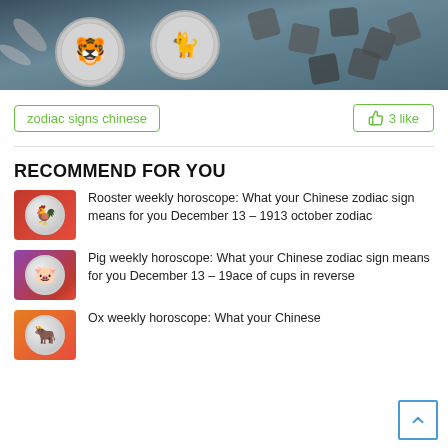[Figure (photo): Chinese zodiac coins (tiger, cat/rabbit) and wooden tiles with astrological symbols on a dark background]
zodiac signs chinese
3 like
RECOMMEND FOR YOU
[Figure (photo): Rooster zodiac coin on red background thumbnail]
Rooster weekly horoscope: What your Chinese zodiac sign means for you December 13 – 1913 october zodiac
[Figure (photo): Pig zodiac coin on magenta/purple background thumbnail]
Pig weekly horoscope: What your Chinese zodiac sign means for you December 13 – 19ace of cups in reverse
[Figure (photo): Ox zodiac coin on orange background thumbnail]
Ox weekly horoscope: What your Chinese